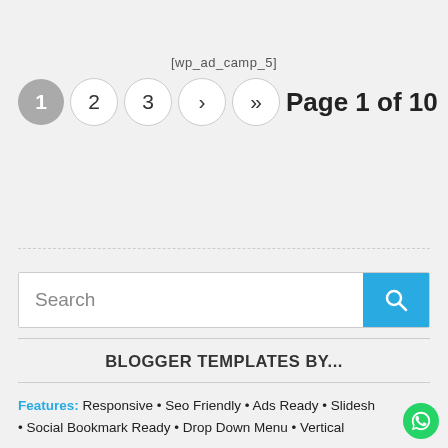[wp_ad_camp_5]
1  2  3  ›  »   Page 1 of 10
[Figure (other): Search bar with blue search button and magnifying glass icon]
BLOGGER TEMPLATES BY...
Features: Responsive • Seo Friendly • Ads Ready • Slideshow • Social Bookmark Ready • Drop Down Menu • Vertical